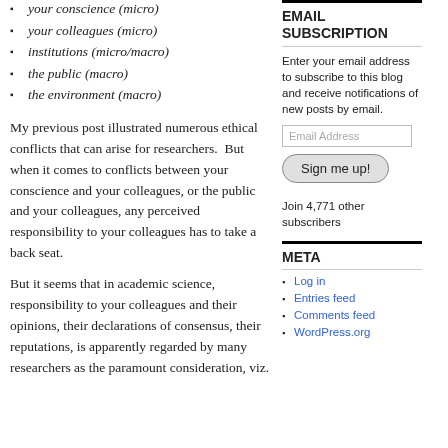your conscience (micro)
your colleagues (micro)
institutions (micro/macro)
the public (macro)
the environment (macro)
My previous post illustrated numerous ethical conflicts that can arise for researchers.  But when it comes to conflicts between your conscience and your colleagues, or the public and your colleagues, any perceived responsibility to your colleagues has to take a back seat.
But it seems that in academic science, responsibility to your colleagues and their opinions, their declarations of consensus, their reputations, is apparently regarded by many researchers as the paramount consideration, viz.
EMAIL SUBSCRIPTION
Enter your email address to subscribe to this blog and receive notifications of new posts by email.
Email Address
Sign me up!
Join 4,771 other subscribers
META
Log in
Entries feed
Comments feed
WordPress.org